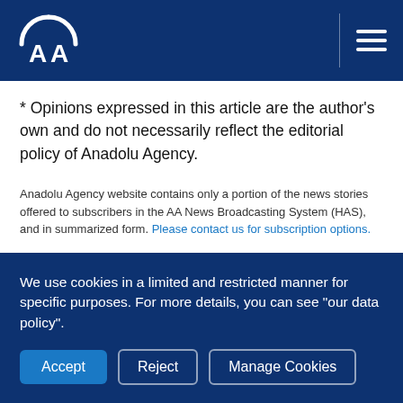AA (Anadolu Agency) logo and navigation header
* Opinions expressed in this article are the author's own and do not necessarily reflect the editorial policy of Anadolu Agency.
Anadolu Agency website contains only a portion of the news stories offered to subscribers in the AA News Broadcasting System (HAS), and in summarized form. Please contact us for subscription options.
We use cookies in a limited and restricted manner for specific purposes. For more details, you can see "our data policy".